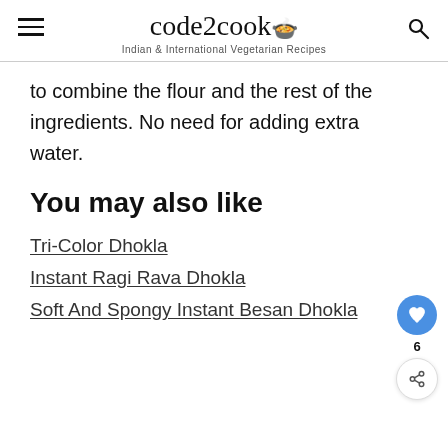code2cook
Indian & International Vegetarian Recipes
to combine the flour and the rest of the ingredients. No need for adding extra water.
You may also like
Tri-Color Dhokla
Instant Ragi Rava Dhokla
Soft And Spongy Instant Besan Dhokla